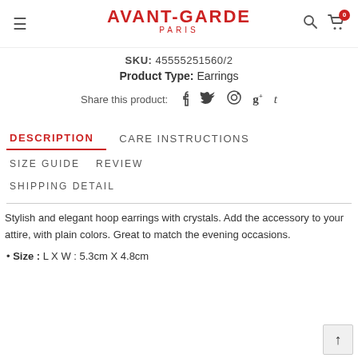AVANT-GARDE PARIS
SKU: 45555251560/2
Product Type: Earrings
Share this product: f  t (social icons)
DESCRIPTION
CARE INSTRUCTIONS
SIZE GUIDE
REVIEW
SHIPPING DETAIL
Stylish and elegant hoop earrings with crystals. Add the accessory to your attire, with plain colors. Great to match the evening occasions.
Size : L X W : 5.3cm X 4.8cm